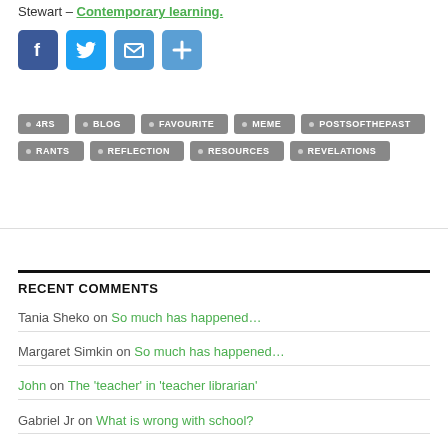Stewart – Contemporary learning.
[Figure (infographic): Four social sharing icon buttons: Facebook (blue), Twitter (light blue), Email (blue envelope), and a share/plus button (blue plus sign)]
• 4RS  • BLOG  • FAVOURITE  • MEME  • POSTSOFTHEPAST  • RANTS  • REFLECTION  • RESOURCES  • REVELATIONS
RECENT COMMENTS
Tania Sheko on So much has happened...
Margaret Simkin on So much has happened...
John on The 'teacher' in 'teacher librarian'
Gabriel Jr on What is wrong with school?